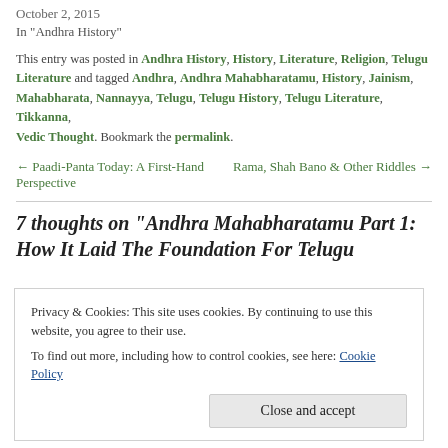October 2, 2015
In "Andhra History"
This entry was posted in Andhra History, History, Literature, Religion, Telugu Literature and tagged Andhra, Andhra Mahabharatamu, History, Jainism, Mahabharata, Nannayya, Telugu, Telugu History, Telugu Literature, Tikkanna, Vedic Thought. Bookmark the permalink.
← Paadi-Panta Today: A First-Hand Perspective
Rama, Shah Bano & Other Riddles →
7 thoughts on "Andhra Mahabharatamu Part 1: How It Laid The Foundation For Telugu
Privacy & Cookies: This site uses cookies. By continuing to use this website, you agree to their use. To find out more, including how to control cookies, see here: Cookie Policy
Close and accept